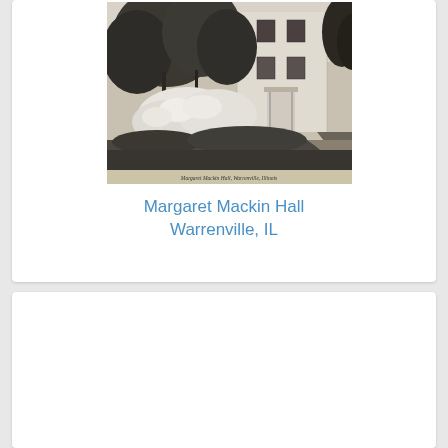[Figure (photo): Black and white historical photograph of Margaret Mackin Hall in Warrenville, Illinois. Shows a large house with trees and flowering bushes in the foreground, a pathway visible on the right side. Caption at the bottom of the photo reads 'Margaret Mackin Hall, Warrenville, Illinois'.]
Margaret Mackin Hall, Warrenville, Illinois
Margaret Mackin Hall
Warrenville, IL